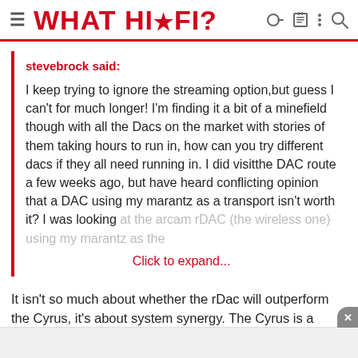≡ WHAT HI·FI?
stevebrock said:
I keep trying to ignore the streaming option,but guess I can't for much longer! I'm finding it a bit of a minefield though with all the Dacs on the market with stories of them taking hours to run in, how can you try different dacs if they all need running in. I did visitthe DAC route a few weeks ago, but have heard conflicting opinion that a DAC using my marantz as a transport isn't worth it? I was looking at the arcam rDAC (the wireless one) using my marantz as the
Click to expand...
It isn't so much about whether the rDac will outperform the Cyrus, it's about system synergy. The Cyrus is a fabulous machine... in the right set-up. I would say it is too bright for your current kit. You would need to look at Spendor, Dynadio or Enos speakers, especially